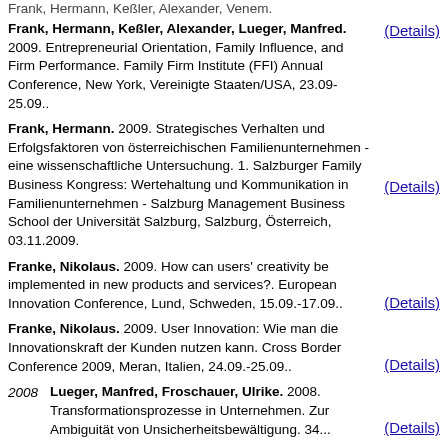Frank, Hermann, Keßler, Alexander, Lueger, Manfred. 2009. Entrepreneurial Orientation, Family Influence, and Firm Performance. Family Firm Institute (FFI) Annual Conference, New York, Vereinigte Staaten/USA, 23.09-25.09..
Frank, Hermann. 2009. Strategisches Verhalten und Erfolgsfaktoren von österreichischen Familienunternehmen - eine wissenschaftliche Untersuchung. 1. Salzburger Family Business Kongress: Wertehaltung und Kommunikation in Familienunternehmen - Salzburg Management Business School der Universität Salzburg, Salzburg, Österreich, 03.11.2009.
Franke, Nikolaus. 2009. How can users' creativity be implemented in new products and services?. European Innovation Conference, Lund, Schweden, 15.09.-17.09..
Franke, Nikolaus. 2009. User Innovation: Wie man die Innovationskraft der Kunden nutzen kann. Cross Border Conference 2009, Meran, Italien, 24.09.-25.09..
2008 Lueger, Manfred, Froschauer, Ulrike. 2008. Transformationsprozesse in Unternehmen. Zur Ambiguität von Unsicherheitsbewältigung. 34...